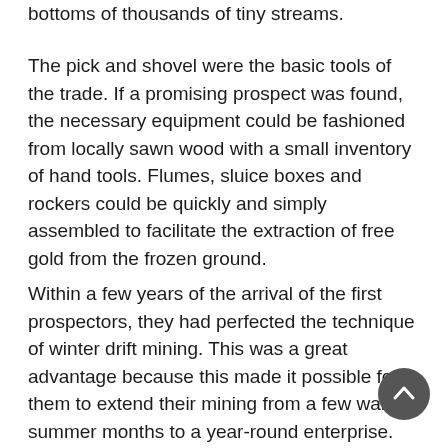bottoms of thousands of tiny streams.
The pick and shovel were the basic tools of the trade. If a promising prospect was found, the necessary equipment could be fashioned from locally sawn wood with a small inventory of hand tools. Flumes, sluice boxes and rockers could be quickly and simply assembled to facilitate the extraction of free gold from the frozen ground.
Within a few years of the arrival of the first prospectors, they had perfected the technique of winter drift mining. This was a great advantage because this made it possible for them to extend their mining from a few warm summer months to a year-round enterprise. No longer did they have to lay idle in their crude log cabins during the long dark cold winter months suffering from boredom and cabin fever.